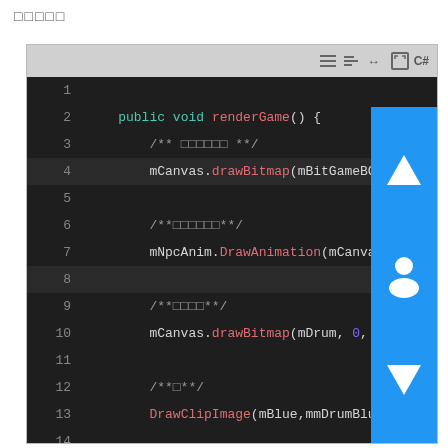□□□□□
[Figure (screenshot): IDE code editor window showing C# renderGame() method with syntax highlighting on dark background. Toolbar with icons at top. Lines 1-24 visible. Scroll overlay with up/down arrows and person icon on right side.]